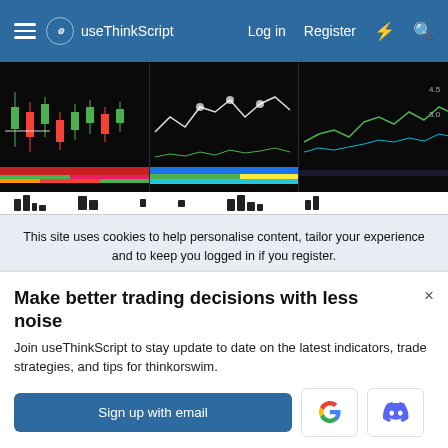useThinkScript  Log in  Register
[Figure (screenshot): Three trading chart thumbnails showing candlestick and price action charts on dark background]
This site uses cookies to help personalise content, tailor your experience and to keep you logged in if you register. By continuing to use this site, you are consenting to our use of cookies.
✓ Accept   Learn more...
Make better trading decisions with less noise
Join useThinkScript to stay update to date on the latest indicators, trade strategies, and tips for thinkorswim.
Sign up with email